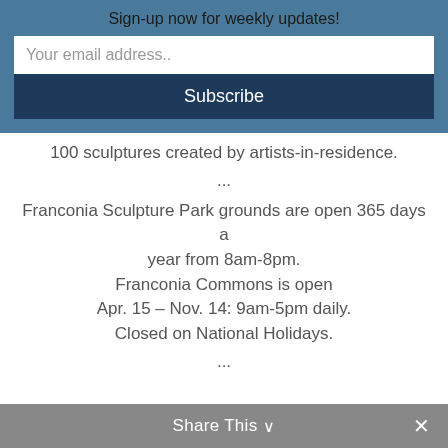Sign-up now for weekly updates!
Your email address..
Subscribe
100 sculptures created by artists-in-residence.
...
Franconia Sculpture Park grounds are open 365 days a year from 8am-8pm.
Franconia Commons is open
Apr. 15 – Nov. 14: 9am-5pm daily.
Closed on National Holidays.
...
Share This ∨  ✕